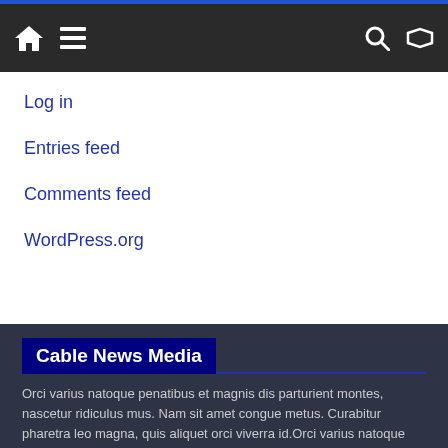Navigation bar with home, menu, search, and shuffle icons
Log in
Entries feed
Comments feed
WordPress.org
Cable News Media
Orci varius natoque penatibus et magnis dis parturient montes, nascetur ridiculus mus. Nam sit amet congue metus. Curabitur pharetra leo magna, quis aliquet orci viverra id.Orci varius natoque penatibus et magnis dis parturient montes, nascetur ridiculus mus. Nam sit amet congue metus. Curabitur pharetra leo magna, quis aliquet orci viverra id.